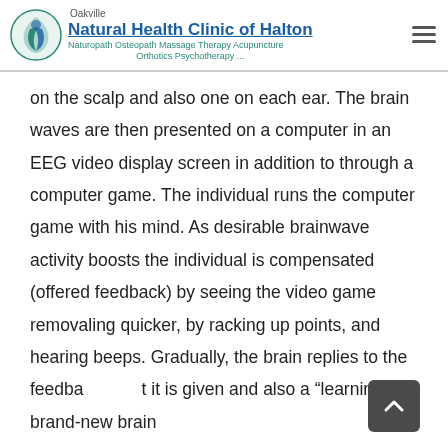Oakville Natural Health Clinic of Halton — Naturopath Osteopath Massage Therapy Acupuncture Orthotics Psychotherapy ...
on the scalp and also one on each ear. The brain waves are then presented on a computer in an EEG video display screen in addition to through a computer game. The individual runs the computer game with his mind. As desirable brainwave activity boosts the individual is compensated (offered feedback) by seeing the video game removaling quicker, by racking up points, and hearing beeps. Gradually, the brain replies to the feedback that it is given and also a “learning” of brand-new brain